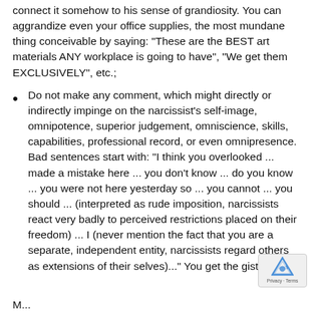connect it somehow to his sense of grandiosity. You can aggrandize even your office supplies, the most mundane thing conceivable by saying: "These are the BEST art materials ANY workplace is going to have", "We get them EXCLUSIVELY", etc.;
Do not make any comment, which might directly or indirectly impinge on the narcissist's self-image, omnipotence, superior judgement, omniscience, skills, capabilities, professional record, or even omnipresence. Bad sentences start with: "I think you overlooked ... made a mistake here ... you don't know ... do you know ... you were not here yesterday so ... you cannot ... you should ... (interpreted as rude imposition, narcissists react very badly to perceived restrictions placed on their freedom) ... I (never mention the fact that you are a separate, independent entity, narcissists regard others as extensions of their selves)..." You get the gist of
M...